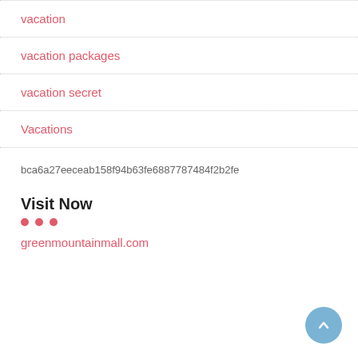vacation
vacation packages
vacation secret
Vacations
bca6a27eeceab158f94b63fe68877874 84f2b2fe
Visit Now
greenmountainmall.com